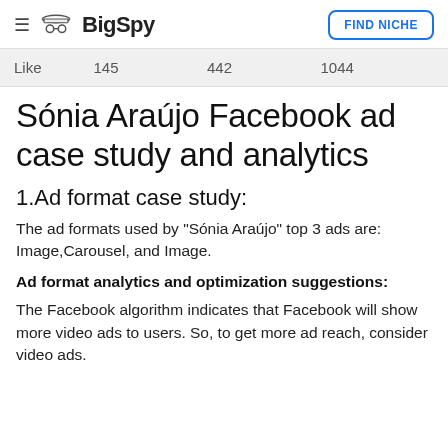BigSpy  FIND NICHE
| Like | 145 | 442 | 1044 |
| --- | --- | --- | --- |
Sónia Araújo Facebook ad case study and analytics
1.Ad format case study:
The ad formats used by "Sónia Araújo" top 3 ads are: Image,Carousel, and Image.
Ad format analytics and optimization suggestions:
The Facebook algorithm indicates that Facebook will show more video ads to users. So, to get more ad reach, consider video ads.